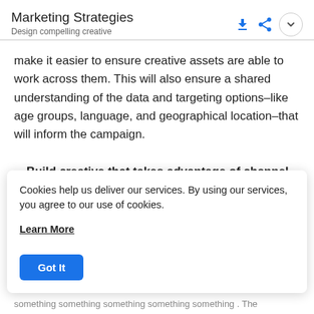Marketing Strategies
Design compelling creative
make it easier to ensure creative assets are able to work across them. This will also ensure a shared understanding of the data and targeting options–like age groups, language, and geographical location–that will inform the campaign.
Build creative that takes advantage of channel and
Cookies help us deliver our services. By using our services, you agree to our use of cookies.
Learn More
Got It